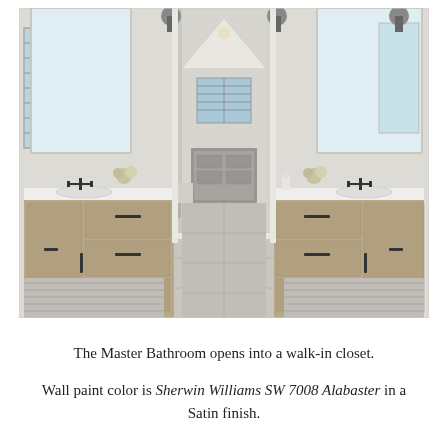[Figure (photo): Interior photo of a master bathroom with two symmetrical wooden vanities with white countertops and undermount sinks, black faucets and hardware, large mirrors, and woven rugs on light grey tile floor. The bathroom opens through a doorway into a walk-in closet with a window and dresser visible beyond. Natural light from windows with shutters on the left.]
The Master Bathroom opens into a walk-in closet.

Wall paint color is Sherwin Williams SW 7008 Alabaster in a Satin finish.